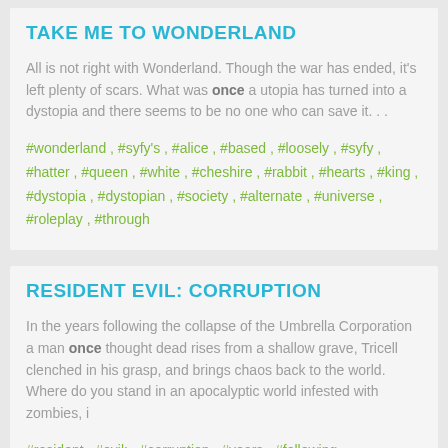TAKE ME TO WONDERLAND
All is not right with Wonderland. Though the war has ended, it’s left plenty of scars. What was once a utopia has turned into a dystopia and there seems to be no one who can save it. . .
#wonderland , #syfy’s , #alice , #based , #loosely , #syfy , #hatter , #queen , #white , #cheshire , #rabbit , #hearts , #king , #dystopia , #dystopian , #society , #alternate , #universe , #roleplay , #through
RESIDENT EVIL: CORRUPTION
In the years following the collapse of the Umbrella Corporation a man once thought dead rises from a shallow grave, Tricell clenched in his grasp, and brings chaos back to the world. Where do you stand in an apocalyptic world infested with zombies, i
#resident , #evil; , #corruption , #years , #following